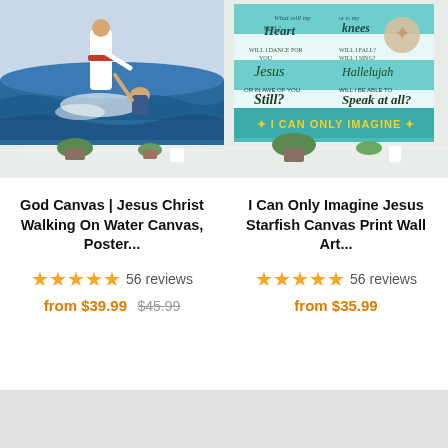[Figure (photo): Jesus Walking on Water canvas art print shown in a room setting above a white shelf with plants]
[Figure (photo): I Can Only Imagine Jesus Starfish canvas print shown in a room setting with teal/turquoise design and script lyrics]
God Canvas | Jesus Christ Walking On Water Canvas, Poster...
★★★★★ 56 reviews
from $39.99 $45.99
I Can Only Imagine Jesus Starfish Canvas Print Wall Art...
★★★★★ 56 reviews
from $35.99